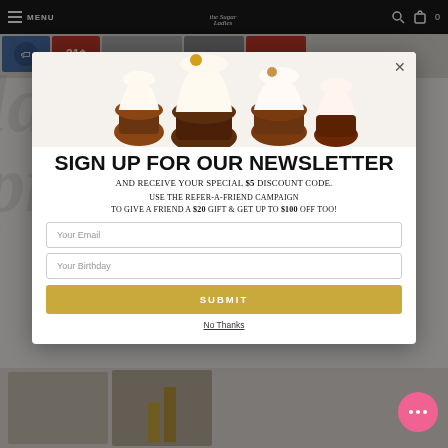MENU | [logo] | [search icon] | [cart icon] 0
[Figure (photo): Newsletter signup modal popup with cupcakes image at top, sign up form with email and birthday fields, submit button, and no thanks link. Background shows a bakery website with watermark text and product images.]
SIGN UP FOR OUR NEWSLETTER
AND RECEIVE YOUR SPECIAL $5 DISCOUNT CODE.
USE THE REFER-A-FRIEND CAMPAIGN TO GIVE A FRIEND A $20 GIFT & GET UP TO $100 OFF TOO!
Your Email
Your Birthday
SUBMIT
No Thanks